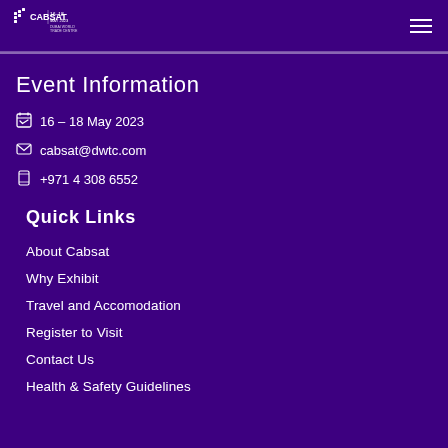CABSAT 16-18 MAY 2023
Event Information
16 – 18 May 2023
cabsat@dwtc.com
+971 4 308 6552
Quick Links
About Cabsat
Why Exhibit
Travel and Accomodation
Register to Visit
Contact Us
Health & Safety Guidelines